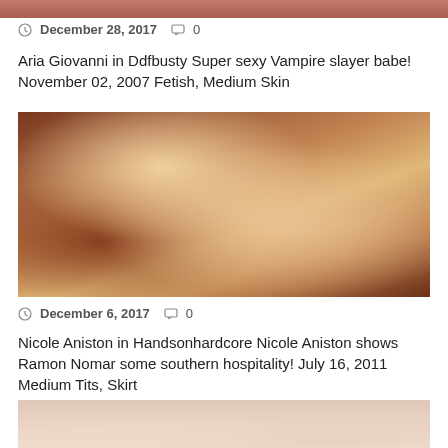[Figure (photo): Top cropped photo strip, partial view]
December 28, 2017   0
Aria Giovanni in Ddfbusty Super sexy Vampire slayer babe! November 02, 2007 Fetish, Medium Skin
[Figure (photo): Blonde woman on ornate chair with male partner, adult content]
December 6, 2017   0
Nicole Aniston in Handsonhardcore Nicole Aniston shows Ramon Nomar some southern hospitality! July 16, 2011 Medium Tits, Skirt
[Figure (photo): Bottom partial photo strip showing two women, adult content]